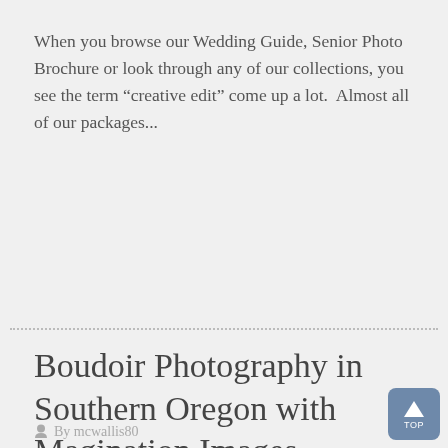When you browse our Wedding Guide, Senior Photo Brochure or look through any of our collections, you see the term “creative edit” come up a lot.  Almost all of our packages...
Read more
Boudoir Photography in Southern Oregon with Magination Images
By mcwallis80